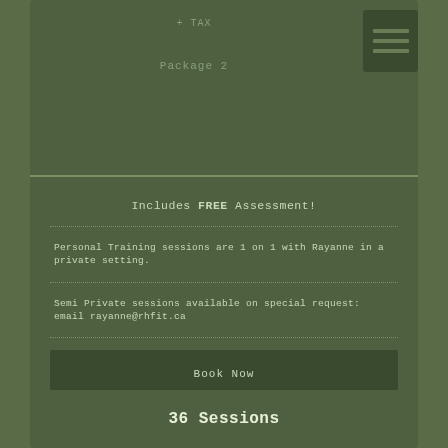+ TAX
Package 2
Includes FREE Assessment!
Personal Training sessions are 1 on 1 with Rayanne in a private setting.
Semi Private sessions available on special request: email rayanne@rhfit.ca
Book Now
36 Sessions